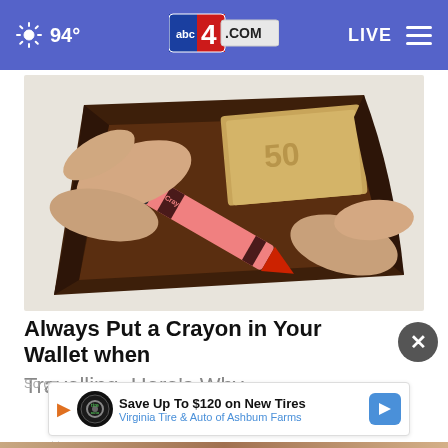94° abc4.com LIVE
[Figure (photo): Hands opening a brown leather wallet with a red Crayola crayon visible inside along with cash]
Always Put a Crayon in Your Wallet when Travelling, Here's Why
So go...
[Figure (infographic): Advertisement banner: Save Up To $120 on New Tires - Virginia Tire & Auto of Ashbum Farms]